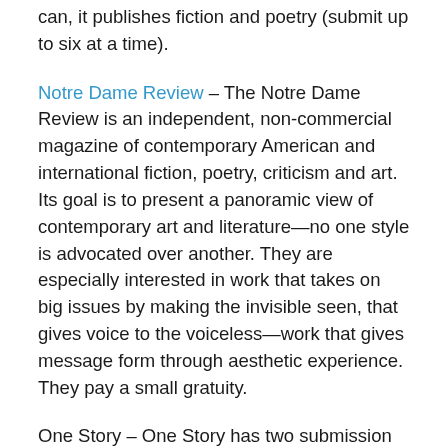can, it publishes fiction and poetry (submit up to six at a time).
Notre Dame Review – The Notre Dame Review is an independent, non-commercial magazine of contemporary American and international fiction, poetry, criticism and art. Its goal is to present a panoramic view of contemporary art and literature—no one style is advocated over another. They are especially interested in work that takes on big issues by making the invisible seen, that gives voice to the voiceless—work that gives message form through aesthetic experience. They pay a small gratuity.
One Story – One Story has two submission periods, January to May and October to November. They accept literary fiction between 3,000-8,000 words. They pay US$500 and 25 contributor copies for first serial North